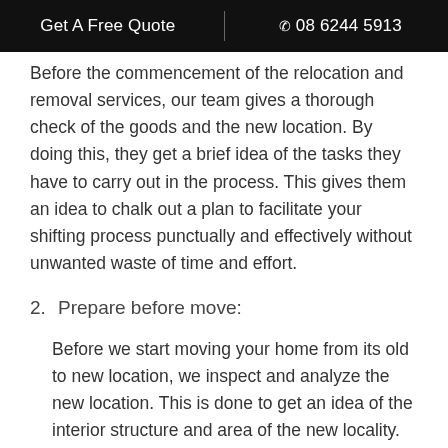Get A Free Quote | 08 6244 5913
Before the commencement of the relocation and removal services, our team gives a thorough check of the goods and the new location. By doing this, they get a brief idea of the tasks they have to carry out in the process. This gives them an idea to chalk out a plan to facilitate your shifting process punctually and effectively without unwanted waste of time and effort.
2. Prepare before move:
Before we start moving your home from its old to new location, we inspect and analyze the new location. This is done to get an idea of the interior structure and area of the new locality. This helps our team to decide an estimate about the tools, equipments and type of vehicle that will be required to move your home to the new location. This is one of the few exceptional features of